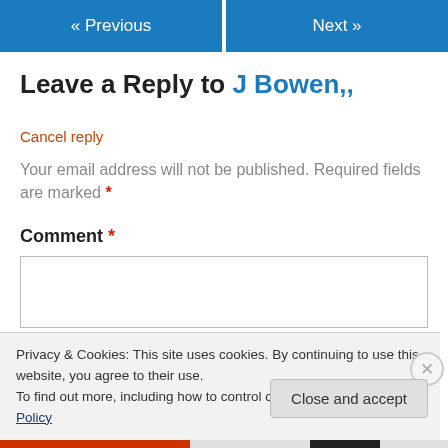« Previous   Next »
Leave a Reply to J Bowen,,
Cancel reply
Your email address will not be published. Required fields are marked *
Comment *
[Figure (screenshot): Empty comment text area input box]
Privacy & Cookies: This site uses cookies. By continuing to use this website, you agree to their use.
To find out more, including how to control cookies, see here: Cookie Policy
Close and accept